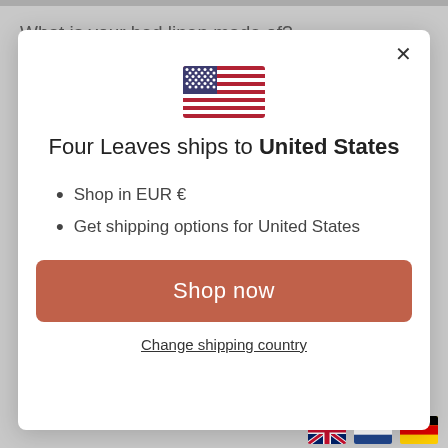What is your bed linen made of?
[Figure (illustration): US flag emoji/icon centered in modal]
Four Leaves ships to United States
Shop in EUR €
Get shipping options for United States
Shop now
Change shipping country
[Figure (illustration): UK flag, Netherlands flag, Germany flag icons at bottom right]